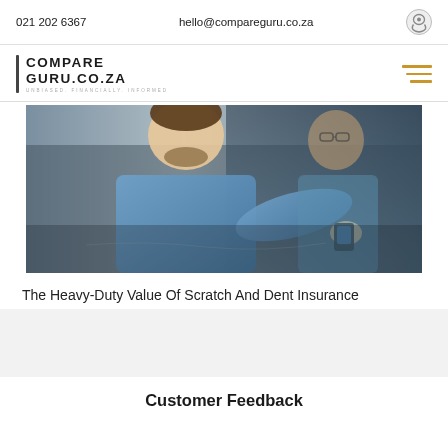021 202 6367   hello@compareguru.co.za
[Figure (logo): CompareGuru.co.za logo with vertical bar and tagline 'UNBIASED. FINANCIALLY. INFORMED']
[Figure (photo): Man in blue shirt closely inspecting a car surface, reflected in the car door, examining scratches or dents]
The Heavy-Duty Value Of Scratch And Dent Insurance
Customer Feedback